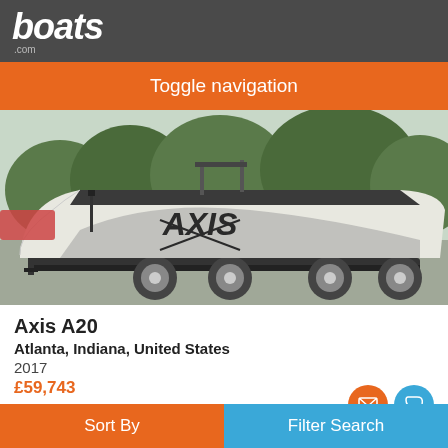boats .com
Toggle navigation
[Figure (photo): White Axis A20 wakeboard boat on a trailer, parked in a lot with trees in background. The boat features the AXIS logo on its hull with gray graphic accents.]
Axis A20
Atlanta, Indiana, United States
2017
£59,743
Seller Mid Indiana Marine
Sort By    Filter Search